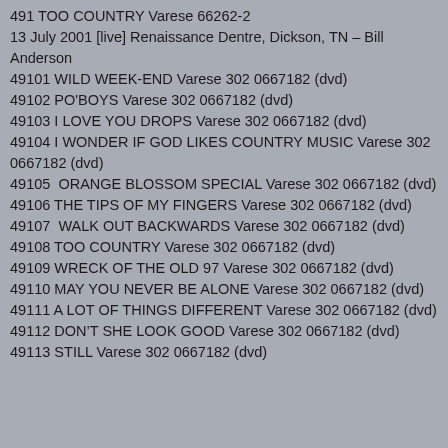491 TOO COUNTRY Varese 66262-2
13 July 2001 [live] Renaissance Dentre, Dickson, TN – Bill Anderson
49101 WILD WEEK-END Varese 302 0667182 (dvd)
49102 PO'BOYS Varese 302 0667182 (dvd)
49103 I LOVE YOU DROPS Varese 302 0667182 (dvd)
49104 I WONDER IF GOD LIKES COUNTRY MUSIC Varese 302 0667182 (dvd)
49105  ORANGE BLOSSOM SPECIAL Varese 302 0667182 (dvd)
49106 THE TIPS OF MY FINGERS Varese 302 0667182 (dvd)
49107  WALK OUT BACKWARDS Varese 302 0667182 (dvd)
49108 TOO COUNTRY Varese 302 0667182 (dvd)
49109 WRECK OF THE OLD 97 Varese 302 0667182 (dvd)
49110 MAY YOU NEVER BE ALONE Varese 302 0667182 (dvd)
49111 A LOT OF THINGS DIFFERENT Varese 302 0667182 (dvd)
49112 DON'T SHE LOOK GOOD Varese 302 0667182 (dvd)
49113 STILL Varese 302 0667182 (dvd)